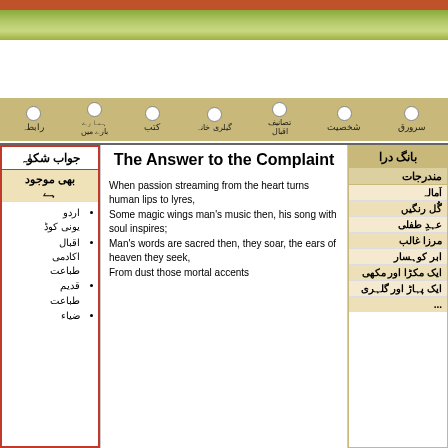[Figure (illustration): Decorative top banner: red bar, green gradient nature band]
[Figure (infographic): Navigation bar with Urdu menu items (سرورق, شخصیت, تصانیف اقبال, گیلری خانہ, کتب, ہمارے بارے میں, رابطہ) with white circles]
The Answer to the Complaint
When passion streaming from the heart turns human lips to lyres, Some magic wings man's music then, his song with soul inspires; Man's words are sacred then, they soar, the ears of heaven they seek, From dust those mortal accents
جواب شکوٰہ
بھی موجود ہے
اردو یونی کوڈ
اقبال اکادمی طباعت
قدیم طباعت
ضیاء
بانگ درا
مندرجات
اَمالہ
گُل رنگیں
عہدِ طفلی
مرزا غالب
ابر کوہسار
ایک مکڑا اور مکھی
ایک پہاڑ اور گلہری
...